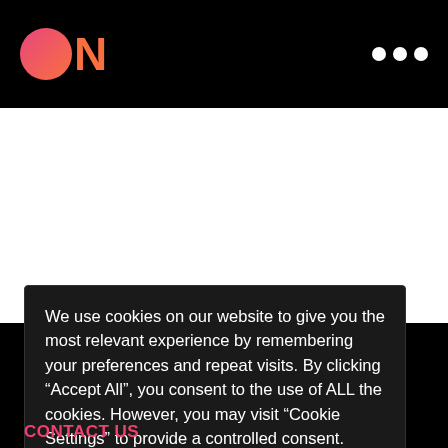ON (logo with circle) ... (three dots menu)
[Figure (other): White content area (blank)]
We use cookies on our website to give you the most relevant experience by remembering your preferences and repeat visits. By clicking “Accept All”, you consent to the use of ALL the cookies. However, you may visit “Cookie Settings” to provide a controlled consent.
CONTACT US